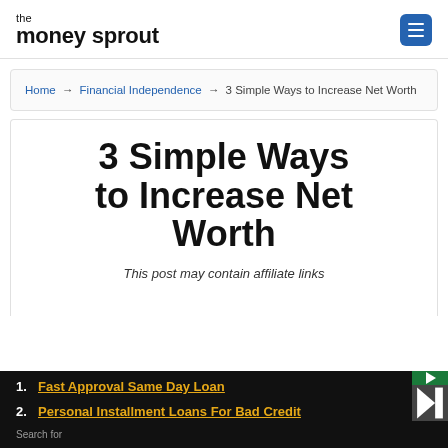the money sprout
Home → Financial Independence → 3 Simple Ways to Increase Net Worth
3 Simple Ways to Increase Net Worth
This post may contain affiliate links
1. Fast Approval Same Day Loan
2. Personal Installment Loans For Bad Credit